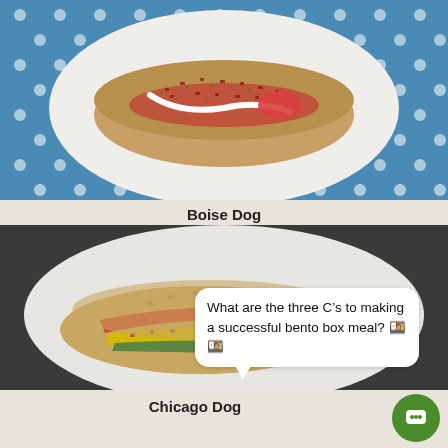[Figure (photo): Top-down photo of a hot dog with toppings (red pepper flakes, herbs, white sauce) on a white plate, on a blue polka dot background. Labeled Boise Dog.]
Boise Dog
[Figure (photo): Top-down photo of a Chicago Dog with colorful toppings (red peppers, yellow mustard, green pickles, red onion) on a white plate, on a dark gray background.]
What are the three C’s to making a successful bento box meal? 🍱🍱
Chicago Dog